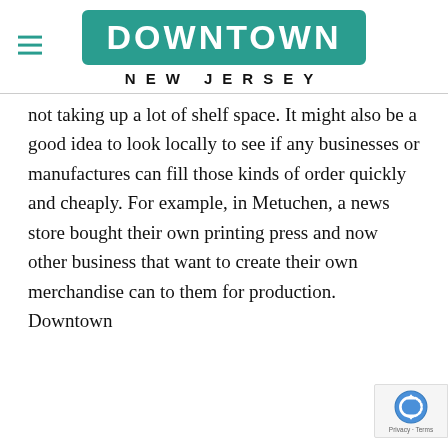DOWNTOWN NEW JERSEY
not taking up a lot of shelf space. It might also be a good idea to look locally to see if any businesses or manufactures can fill those kinds of order quickly and cheaply. For example, in Metuchen, a news store bought their own printing press and now other business that want to create their own merchandise can to them for production. Downtown